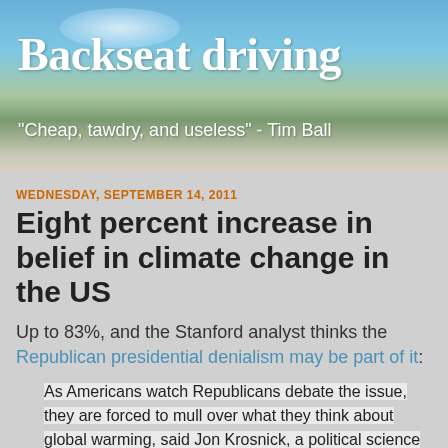Backseat driving
"Cheap, tawdry, and useless" - Tim Ball
WEDNESDAY, SEPTEMBER 14, 2011
Eight percent increase in belief in climate change in the US
Up to 83%, and the Stanford analyst thinks the Republican presidential denialism may be part of it:
As Americans watch Republicans debate the issue, they are forced to mull over what they think about global warming, said Jon Krosnick, a political science professor at Stanford University.
And what they think is also influenced by reports this year that global temperatures in 2010 were tied with 2005 to be the warmest year since the 1800s.